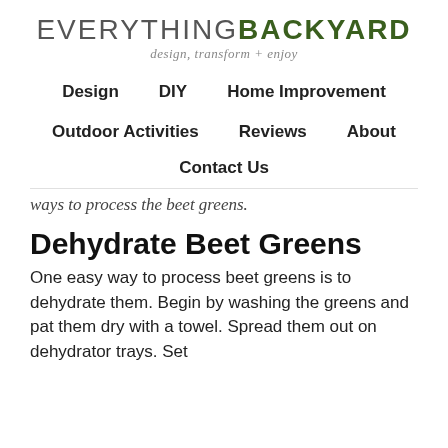EVERYTHING BACKYARD design, transform + enjoy
Design   DIY   Home Improvement
Outdoor Activities   Reviews   About
Contact Us
ways to process the beet greens.
Dehydrate Beet Greens
One easy way to process beet greens is to dehydrate them. Begin by washing the greens and pat them dry with a towel. Spread them out on dehydrator trays. Set